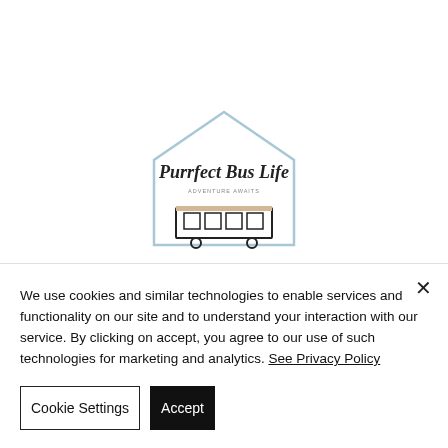[Figure (logo): Purrfect Bus Life logo — a house/pentagon shape outline in light blue with a script text 'Purrfect Bus Life' and a simplified bus illustration below it]
We use cookies and similar technologies to enable services and functionality on our site and to understand your interaction with our service. By clicking on accept, you agree to our use of such technologies for marketing and analytics. See Privacy Policy
Cookie Settings
Accept